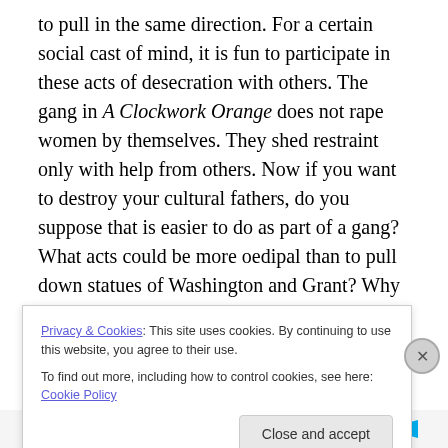to pull in the same direction. For a certain social cast of mind, it is fun to participate in these acts of desecration with others. The gang in A Clockwork Orange does not rape women by themselves. They shed restraint only with help from others. Now if you want to destroy your cultural fathers, do you suppose that is easier to do as part of a gang? What acts could be more oedipal than to pull down statues of Washington and Grant? Why not pull down the Washington Monument? It could be done, you know. You would just need enough helicopters and people with ropes and cables. In just a few hours, you would have a
Privacy & Cookies: This site uses cookies. By continuing to use this website, you agree to their use.
To find out more, including how to control cookies, see here: Cookie Policy